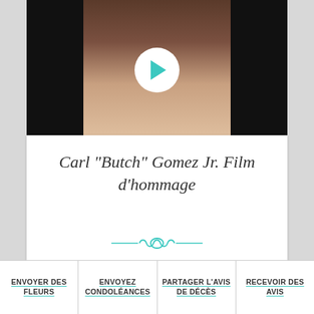[Figure (photo): Video thumbnail showing an elderly man in a white shirt, with a play button overlay. Black background on sides.]
Carl "Butch" Gomez Jr. Film d'hommage
[Figure (illustration): Decorative teal ornamental divider]
0
ENVOYER DES FLEURS | ENVOYEZ CONDOLÉANCES | PARTAGER L'AVIS DE DÉCÈS | RECEVOIR DES AVIS